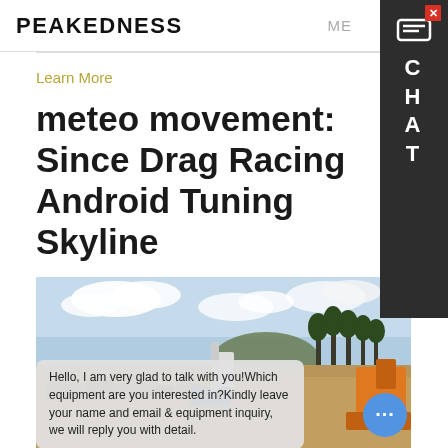PEAKEDNESS  ME
Learn More
meteo movement: Since Drag Racing Android Tuning Skyline
[Figure (photo): Construction/quarry site photo with blue sky, trees, rubble, machinery, and a chat overlay bubble reading 'Hello, I am very glad to talk with you! Which equipment are you interested in? Kindly leave your name and email & equipment inquiry, we will reply you with detail.']